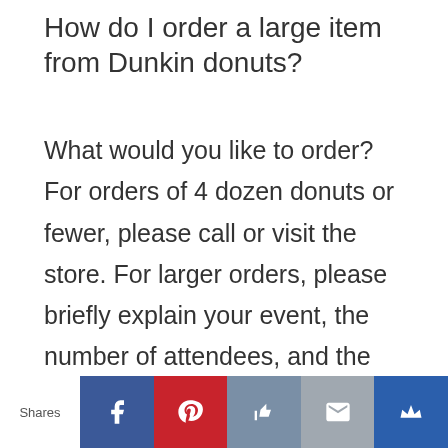How do I order a large item from Dunkin donuts?
What would you like to order? For orders of 4 dozen donuts or fewer, please call or visit the store. For larger orders, please briefly explain your event, the number of attendees, and the date and time of pick-up/delivery. We recommend you figure one donut per attendee and/or one cup of coffee per attendee.
Shares [Facebook] [Pinterest] [Like] [Email] [Crown]